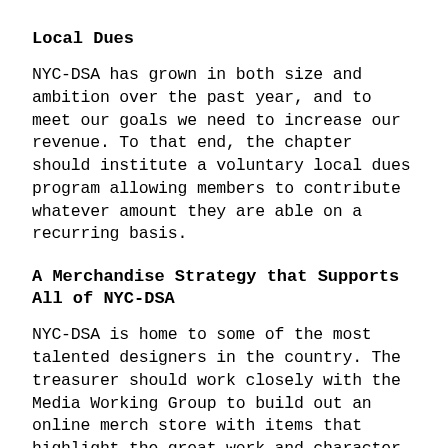Local Dues
NYC-DSA has grown in both size and ambition over the past year, and to meet our goals we need to increase our revenue. To that end, the chapter should institute a voluntary local dues program allowing members to contribute whatever amount they are able on a recurring basis.
A Merchandise Strategy that Supports All of NYC-DSA
NYC-DSA is home to some of the most talented designers in the country. The treasurer should work closely with the Media Working Group to build out an online merch store with items that highlight the great work and character of the chapter, and a model for the physical sale of items at events. Our strategy